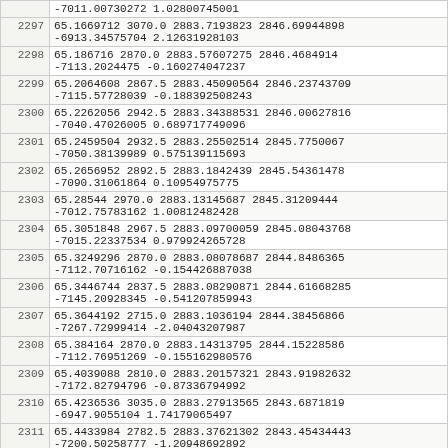| index | values |
| --- | --- |
|  | -7011.00730272 1.02800745001 |
| 2297 | 65.1669712 3070.0 2883.7193823 2846.69944898
-6913.34575704 2.12631928103 |
| 2298 | 65.186716 2870.0 2883.57607275 2846.4684914
-7113.2024475 -0.160274047237 |
| 2299 | 65.2064608 2867.5 2883.45090564 2846.23743709
-7115.57728039 -0.188392508243 |
| 2300 | 65.2262056 2942.5 2883.34388531 2846.00627816
-7040.47026005 0.689717749096 |
| 2301 | 65.2459504 2932.5 2883.25502514 2845.7750067
-7050.38139989 0.575139115693 |
| 2302 | 65.2656952 2892.5 2883.1842439 2845.54361478
-7090.31061864 0.10954975775 |
| 2303 | 65.28544 2970.0 2883.13145687 2845.31209444
-7012.75783162 1.00812482428 |
| 2304 | 65.3051848 2967.5 2883.09700059 2845.08043768
-7015.22337534 0.979924265728 |
| 2305 | 65.3249296 2870.0 2883.08078687 2844.8486365
-7112.70716162 -0.154426887038 |
| 2306 | 65.3446744 2837.5 2883.08290871 2844.61668285
-7145.20928345 -0.541207859943 |
| 2307 | 65.3644192 2715.0 2883.1036194 2844.38456866
-7267.72999414 -2.04043207987 |
| 2308 | 65.384164 2870.0 2883.14313795 2844.15228586
-7112.76951269 -0.155162980576 |
| 2309 | 65.4039088 2810.0 2883.20157321 2843.91982632
-7172.82794796 -0.87336794992 |
| 2310 | 65.4236536 3035.0 2883.27913565 2843.6871819
-6947.9055104 1.74179065497 |
| 2311 | 65.4433984 2782.5 2883.37621302 2843.45434443
-7200.50258777 -1.20948692892 |
| 2312 | 65.4631432 2872.5 2883.49314507 2843.22130572
-7110.61951981 -0.129724479245 |
| 2313 | 65.482888 3032.5 2883.63018732 2842.98805754
-6950.75650086 1.70876195091 |